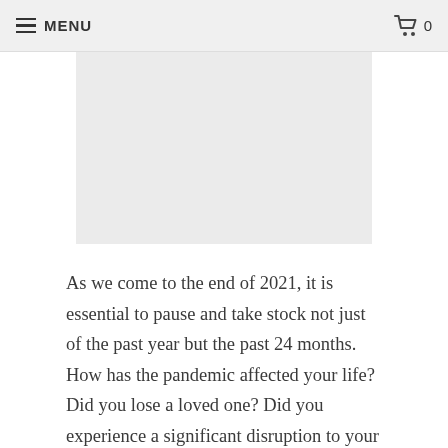MENU  0
[Figure (photo): Gray placeholder image rectangle]
As we come to the end of 2021, it is essential to pause and take stock not just of the past year but the past 24 months. How has the pandemic affected your life? Did you lose a loved one? Did you experience a significant disruption to your lifestyle? Were you left with less than favorable conditions and lacked the experience for how to proceed? Did you